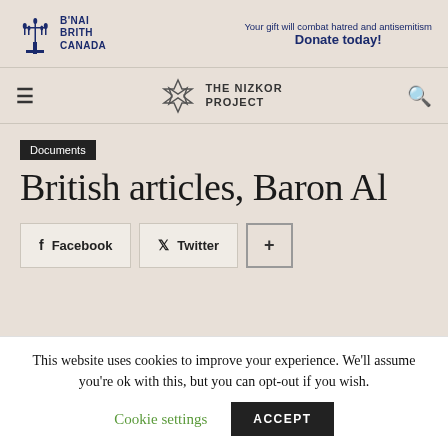B'NAI BRITH CANADA — Your gift will combat hatred and antisemitism — Donate today!
[Figure (logo): The Nizkor Project logo with Star of David and navigation hamburger menu and search icon]
Documents
British articles, Baron Al
Facebook  Twitter  +
This website uses cookies to improve your experience. We'll assume you're ok with this, but you can opt-out if you wish.
Cookie settings    ACCEPT